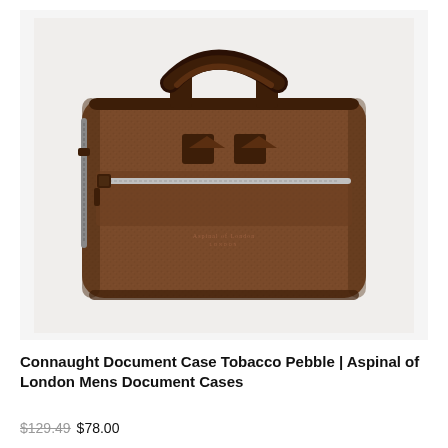[Figure (photo): A brown pebble-grain leather document case (briefcase) by Aspinal of London. The bag has dual dark brown top handles, two triangular logo tabs on the front, a silver zip-up front pocket, and a visible side zip. The leather has a textured pebble grain finish. The bag is photographed against a light grey/white background.]
Connaught Document Case Tobacco Pebble | Aspinal of London Mens Document Cases
$129.49 $78.00